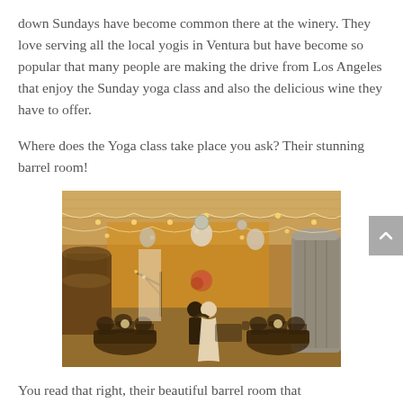down Sundays have become common there at the winery. They love serving all the local yogis in Ventura but have become so popular that many people are making the drive from Los Angeles that enjoy the Sunday yoga class and also the delicious wine they have to offer.
Where does the Yoga class take place you ask? Their stunning barrel room!
[Figure (photo): Interior of a winery barrel room decorated with string lights and paper lanterns. Guests are seated at round tables while a couple dances in the center of the room. Wine barrels and stainless steel tanks are visible in the background.]
You read that right, their beautiful barrel room that